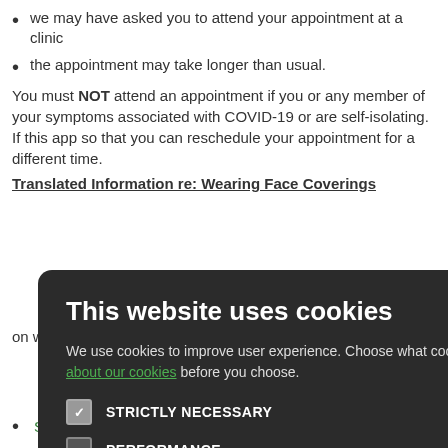we may have asked you to attend your appointment at a clinic
the appointment may take longer than usual.
You must NOT attend an appointment if you or any member of your symptoms associated with COVID-19 or are self-isolating. If this app so that you can reschedule your appointment for a different time.
Translated Information re: Wearing Face Coverings
[Figure (screenshot): Cookie consent modal dialog with dark background. Title: 'This website uses cookies'. Body text about cookie choices with a link 'read more about our cookies'. Four checkboxes: STRICTLY NECESSARY (checked), PERFORMANCE (unchecked), TARGETING (unchecked), FUNCTIONALITY (unchecked). Two buttons: ACCEPT ALL (green) and DECLINE ALL (outlined). Close X button in top right.]
on where and how t
Spanish